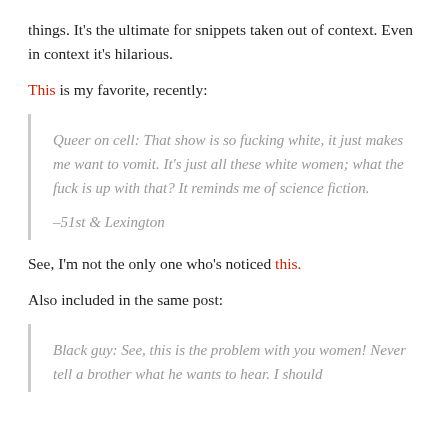things. It's the ultimate for snippets taken out of context. Even in context it's hilarious.
This is my favorite, recently:
Queer on cell: That show is so fucking white, it just makes me want to vomit. It's just all these white women; what the fuck is up with that? It reminds me of science fiction.
–51st & Lexington
See, I'm not the only one who's noticed this.
Also included in the same post:
Black guy: See, this is the problem with you women! Never tell a brother what he wants to hear. I should